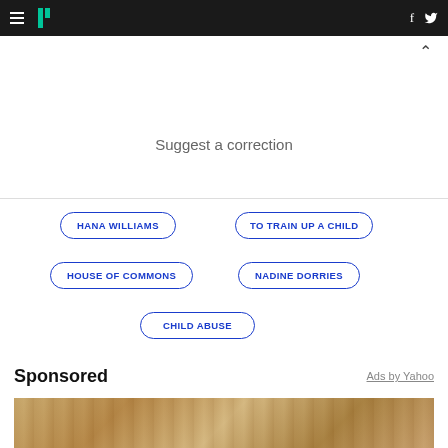HuffPost navigation with hamburger menu, logo, Facebook and Twitter icons
Suggest a correction
HANA WILLIAMS
TO TRAIN UP A CHILD
HOUSE OF COMMONS
NADINE DORRIES
CHILD ABUSE
Sponsored
Ads by Yahoo
[Figure (photo): Sponsored content image showing wooden/metallic texture]